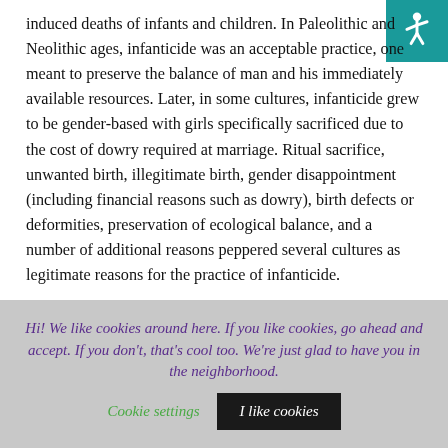induced deaths of infants and children. In Paleolithic and Neolithic ages, infanticide was an acceptable practice, one meant to preserve the balance of man and his immediately available resources. Later, in some cultures, infanticide grew to be gender-based with girls specifically sacrificed due to the cost of dowry required at marriage. Ritual sacrifice, unwanted birth, illegitimate birth, gender disappointment (including financial reasons such as dowry), birth defects or deformities, preservation of ecological balance, and a number of additional reasons peppered several cultures as legitimate reasons for the practice of infanticide.
Common early methods of infanticide included but were not limited to: exposure, suffocation or asphyxia, ritual sacrifice,
[Figure (other): Accessibility icon: wheelchair symbol in white on teal/dark cyan background, top-right corner]
Hi! We like cookies around here. If you like cookies, go ahead and accept. If you don't, that's cool too. We're just glad to have you in the neighborhood.
Cookie settings
I like cookies